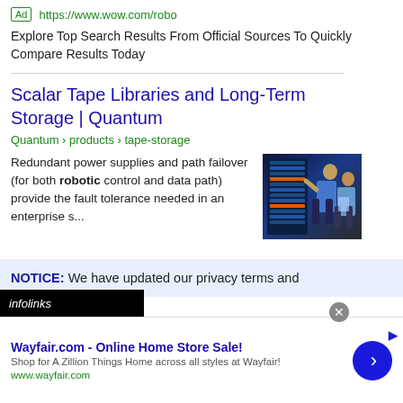Ad https://www.wow.com/robo
Explore Top Search Results From Official Sources To Quickly Compare Results Today
Scalar Tape Libraries and Long-Term Storage | Quantum
Quantum › products › tape-storage
Redundant power supplies and path failover (for both robotic control and data path) provide the fault tolerance needed in an enterprise s...
[Figure (photo): Two people working on data storage / server equipment in a data center, blue-tinted lighting]
NOTICE: We have updated our privacy terms and
infolinks
Wayfair.com - Online Home Store Sale! Shop for A Zillion Things Home across all styles at Wayfair! www.wayfair.com